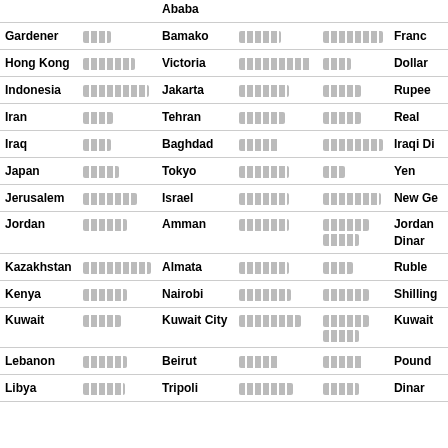| Country/City | Script | Capital/Country | Script | Script | Currency |
| --- | --- | --- | --- | --- | --- |
| Ababa |  |  |  |  |  |
| Gardener | [script] | Bamako | [script] | [script] | Franc |
| Hong Kong | [script] | Victoria | [script] | [script] | Dollar |
| Indonesia | [script] | Jakarta | [script] | [script] | Rupee |
| Iran | [script] | Tehran | [script] | [script] | Real |
| Iraq | [script] | Baghdad | [script] | [script] | Iraqi Di… |
| Japan | [script] | Tokyo | [script] | [script] | Yen |
| Jerusalem | [script] | Israel | [script] | [script] | New Ge… |
| Jordan | [script] | Amman | [script] | [script] | Jordan Dinar |
| Kazakhstan | [script] | Almata | [script] | [script] | Ruble |
| Kenya | [script] | Nairobi | [script] | [script] | Shilling |
| Kuwait | [script] | Kuwait City | [script] | [script] | Kuwait |
| Lebanon | [script] | Beirut | [script] | [script] | Pound |
| Libya | [script] | Tripoli | [script] | [script] | Dinar |